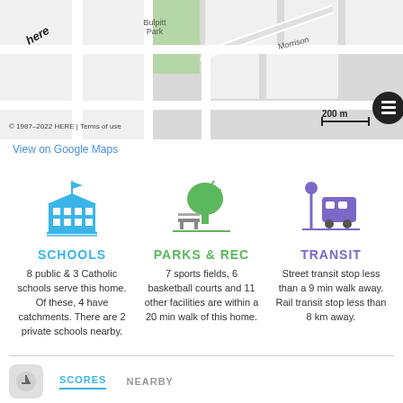[Figure (map): Street map showing neighborhood with Bulpitt Park labeled, Morrison street visible, HERE maps branding, scale bar showing 200m, and layers button. Copyright 1987-2022 HERE | Terms of use.]
View on Google Maps
[Figure (illustration): Schools icon - blue building with columns and flag]
SCHOOLS
8 public & 3 Catholic schools serve this home. Of these, 4 have catchments. There are 2 private schools nearby.
[Figure (illustration): Parks & Rec icon - green tree with sun rays and park bench]
PARKS & REC
7 sports fields, 6 basketball courts and 11 other facilities are within a 20 min walk of this home.
[Figure (illustration): Transit icon - purple bus stop with bus]
TRANSIT
Street transit stop less than a 9 min walk away. Rail transit stop less than 8 km away.
[Figure (logo): HoodQ logo with colorful H icon and text 'powered by HoodQ']
SCORES
NEARBY